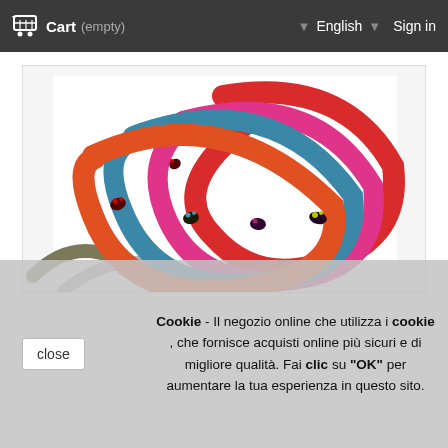Cart (empty)  English  Sign in
[Figure (photo): Colorful felt bracelets/headbands with small ladybug decorations, in red, blue, pink, deep red, and olive/gray colors, arranged on a white background.]
Cookie - Il negozio online che utilizza i cookie , che fornisce acquisti online più sicuri e di migliore qualità. Fai clic su "OK" per aumentare la tua esperienza in questo sito.
close